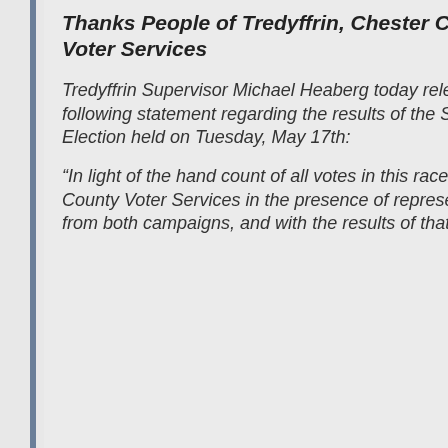Thanks People of Tredyffrin, Chester County Voter Services
Tredyffrin Supervisor Michael Heaberg today released the following statement regarding the results of the Special Election held on Tuesday, May 17th:
“In light of the hand count of all votes in this race by Chester County Voter Services in the presence of representatives from both campaigns, and with the results of that